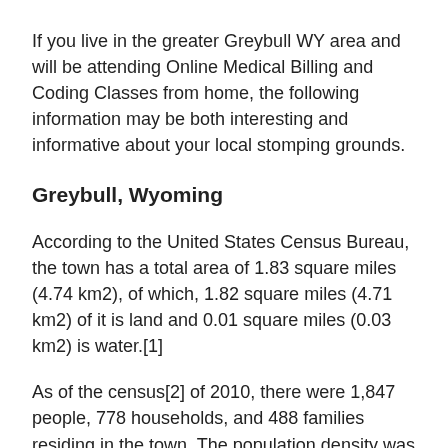If you live in the greater Greybull WY area and will be attending Online Medical Billing and Coding Classes from home, the following information may be both interesting and informative about your local stomping grounds.
Greybull, Wyoming
According to the United States Census Bureau, the town has a total area of 1.83 square miles (4.74 km2), of which, 1.82 square miles (4.71 km2) of it is land and 0.01 square miles (0.03 km2) is water.[1]
As of the census[2] of 2010, there were 1,847 people, 778 households, and 488 families residing in the town. The population density was 1,014.8 inhabitants per square mile (391.8/km2). There were 879 housing units at an average density of 483.0 per square mile (186.5/km2). The racial makeup of the town was 92.9% White, 0.4% African